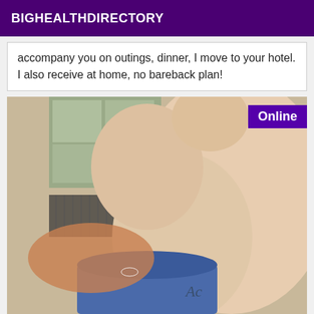BIGHEALTHDIRECTORY
accompany you on outings, dinner, I move to your hotel. I also receive at home, no bareback plan!
[Figure (photo): Person lying down, shirtless, with tattoos visible, indoor setting with window in background. Online badge in top right corner.]